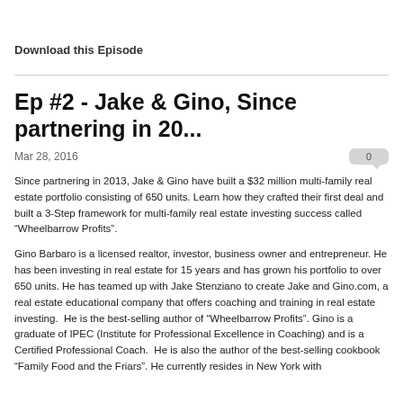Download this Episode
Ep #2 - Jake & Gino, Since partnering in 20...
Mar 28, 2016
Since partnering in 2013, Jake & Gino have built a $32 million multi-family real estate portfolio consisting of 650 units. Learn how they crafted their first deal and built a 3-Step framework for multi-family real estate investing success called “Wheelbarrow Profits”.
Gino Barbaro is a licensed realtor, investor, business owner and entrepreneur. He has been investing in real estate for 15 years and has grown his portfolio to over 650 units. He has teamed up with Jake Stenziano to create Jake and Gino.com, a real estate educational company that offers coaching and training in real estate investing.  He is the best-selling author of “Wheelbarrow Profits”. Gino is a graduate of IPEC (Institute for Professional Excellence in Coaching) and is a Certified Professional Coach.  He is also the author of the best-selling cookbook “Family Food and the Friars”. He currently resides in New York with